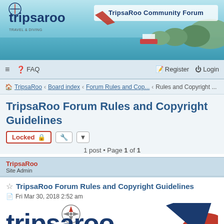[Figure (screenshot): TripsaRoo Community Forum banner with logo and scenic ocean/island background]
≡  FAQ    Register  Login
TripsaRoo › Board index › Forum Rules and Cop... › Rules and Copyright ...
TripsaRoo Forum Rules and Copyright Guidelines
Locked 🔒
1 post • Page 1 of 1
TripsaRoo
Site Admin
TripsaRoo Forum Rules and Copyright Guidelines
Fri Mar 30, 2018 2:52 am
[Figure (logo): TripsaRoo logo with compass rose and brand name in dark blue and red]